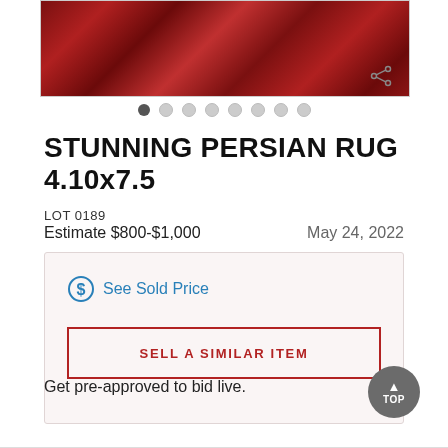[Figure (photo): Partial view of a red Persian rug with floral and animal motifs, showing the top portion of the item listing image]
STUNNING PERSIAN RUG 4.10x7.5
LOT 0189
Estimate $800-$1,000    May 24, 2022
See Sold Price
SELL A SIMILAR ITEM
Get pre-approved to bid live.